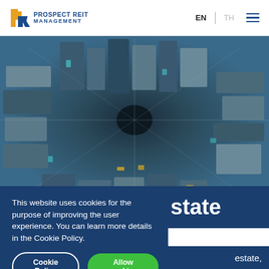[Figure (logo): Prospect REIT Management logo with stylized PR icon in orange and blue]
EN | TH
[Figure (photo): Aerial fisheye view looking straight down on a dense urban cityscape with skyscrapers]
This website uses cookies for the purpose of improving the user experience. You can learn more details in the Cookie Policy.
Cookie Policy    Allow cookies
state
estate,